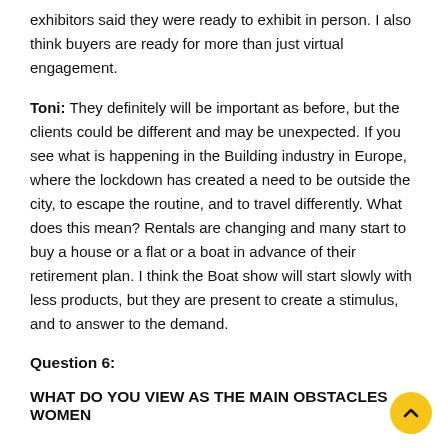exhibitors said they were ready to exhibit in person. I also think buyers are ready for more than just virtual engagement.
Toni: They definitely will be important as before, but the clients could be different and may be unexpected. If you see what is happening in the Building industry in Europe, where the lockdown has created a need to be outside the city, to escape the routine, and to travel differently. What does this mean? Rentals are changing and many start to buy a house or a flat or a boat in advance of their retirement plan. I think the Boat show will start slowly with less products, but they are present to create a stimulus, and to answer to the demand.
Question 6:
WHAT DO YOU VIEW AS THE MAIN OBSTACLES WOMEN